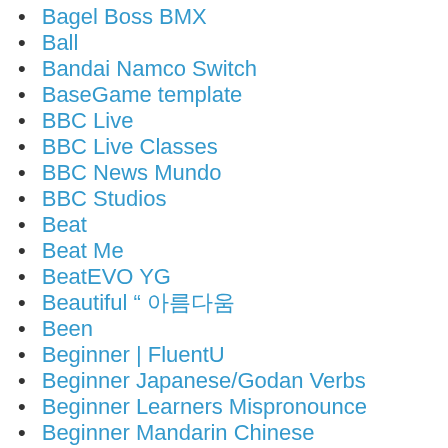Bagel Boss BMX
Ball
Bandai Namco Switch
BaseGame template
BBC Live
BBC Live Classes
BBC News Mundo
BBC Studios
Beat
Beat Me
BeatEVO YG
Beautiful " 아름다움
Been
Beginner | FluentU
Beginner Japanese/Godan Verbs
Beginner Learners Mispronounce
Beginner Mandarin Chinese